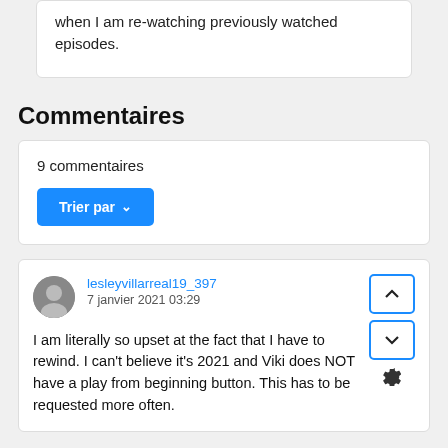when I am re-watching previously watched episodes.
Commentaires
9 commentaires
Trier par
lesleyvillarreal19_397
7 janvier 2021 03:29
I am literally so upset at the fact that I have to rewind. I can't believe it's 2021 and Viki does NOT have a play from beginning button. This has to be requested more often.